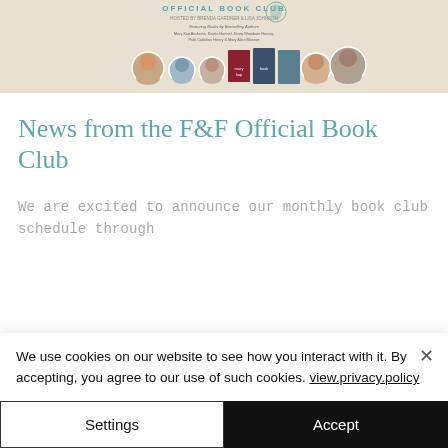[Figure (illustration): Official Book Club banner featuring circular author portraits and book covers. Text reads 'OFFICIAL BOOK CLUB' with 'Featuring Books by Bestselling Authors: Mary Kay Andrews, Kristin Harmel, Kristy Woodson Harvey, Patti Callahan Henry & Mary Alice Monroe']
News from the F&F Official Book Club
We are excited to announce our monthly book club schedule through
We use cookies on our website to see how you interact with it. By accepting, you agree to our use of such cookies. view.privacy.policy